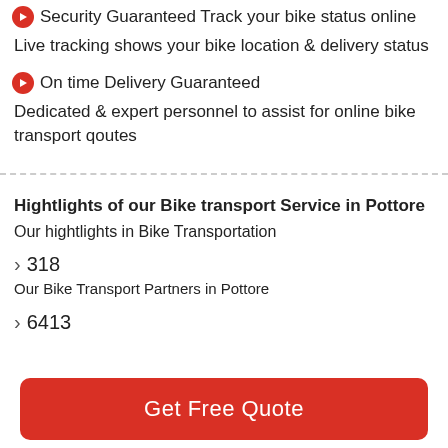Security Guaranteed Track your bike status online
Live tracking shows your bike location & delivery status
On time Delivery Guaranteed
Dedicated & expert personnel to assist for online bike transport qoutes
Hightlights of our Bike transport Service in Pottore
Our hightlights in Bike Transportation
> 318
Our Bike Transport Partners in Pottore
> 6413
Get Free Quote